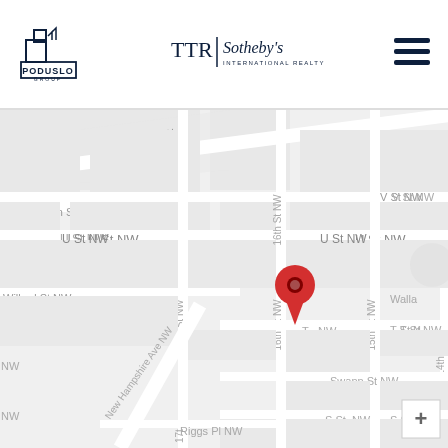[Figure (logo): Poduslo Group logo with building icon]
[Figure (logo): TTR Sotheby's International Realty logo]
[Figure (logo): Hamburger menu icon (three horizontal lines)]
[Figure (map): Street map of Washington DC NW area showing Florida Ave NW, V St NW, U St NW, T St NW, Swann St NW, S St NW, Riggs Pl NW, 14th St NW, 15th St NW, 16th St NW, 17th St NW, New Hampshire Ave NW, Willard St NW, Seaton St NW, with a red location pin marker near 16th St NW and T St NW intersection. Map includes a zoom plus button in the lower right corner.]